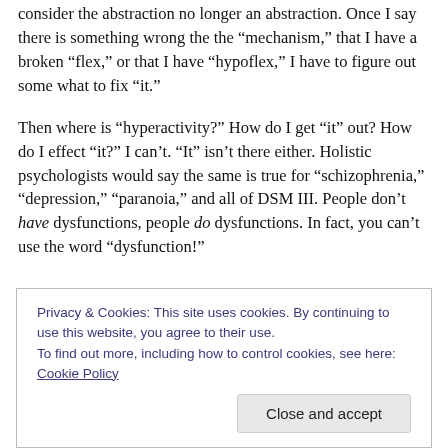consider the abstraction no longer an abstraction. Once I say there is something wrong the the “mechanism,” that I have a broken “flex,” or that I have “hypoflex,” I have to figure out some what to fix “it.”
Then where is “hyperactivity?” How do I get “it” out? How do I effect “it?” I can’t. “It” isn’t there either. Holistic psychologists would say the same is true for “schizophrenia,” “depression,” “paranoia,” and all of DSM III. People don’t have dysfunctions, people do dysfunctions. In fact, you can’t use the word “dysfunction!”
Privacy & Cookies: This site uses cookies. By continuing to use this website, you agree to their use. To find out more, including how to control cookies, see here: Cookie Policy